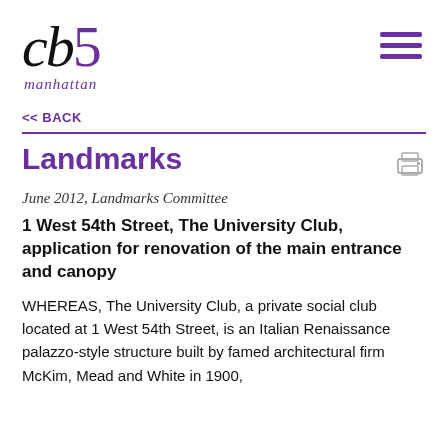[Figure (logo): cb5 manhattan logo — 'cb' in black serif italic, '5' in purple serif, 'manhattan' in purple italic below]
<< BACK
Landmarks
June 2012, Landmarks Committee
1 West 54th Street, The University Club, application for renovation of the main entrance and canopy
WHEREAS, The University Club, a private social club located at 1 West 54th Street, is an Italian Renaissance palazzo-style structure built by famed architectural firm McKim, Mead and White in 1900,